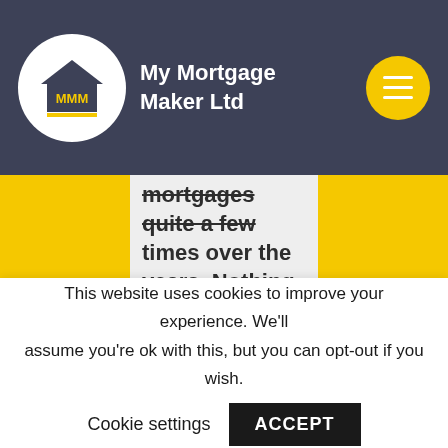[Figure (logo): My Mortgage Maker Ltd logo with MMM house icon in white circle on dark navy header, with yellow hamburger menu button on right]
mortgages quite a few times over the years. Nothing is too much trouble. Elliot is a pleasure to work with and has an understanding of the market that is second to none. Recommended.”
This website uses cookies to improve your experience. We'll assume you're ok with this, but you can opt-out if you wish.
Cookie settings   ACCEPT